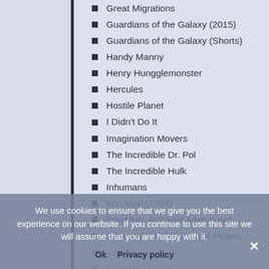Great Migrations
Guardians of the Galaxy (2015)
Guardians of the Galaxy (Shorts)
Handy Manny
Henry Hungglemonster
Hercules
Hostile Planet
I Didn't Do It
Imagination Movers
The Incredible Dr. Pol
The Incredible Hulk
Inhumans
Iron Man (1994)
Iron Man: Armored Adventures
Jake and the Never Land Pirates
Jessie
Kickin' It
Kim Possible
Kingdom of the White Wolf
We use cookies to ensure that we give you the best experience on our website. If you continue to use this site we will assume that you are happy with it.
Ok   Privacy policy